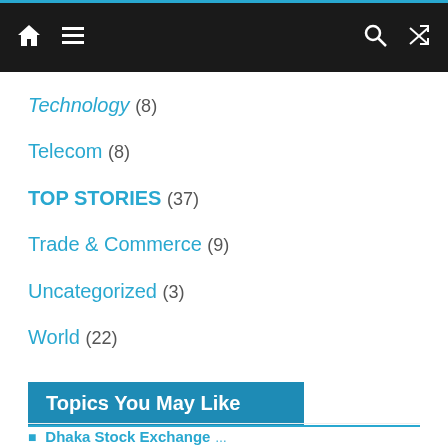Navigation bar with home, menu, search, and shuffle icons
Technology (8)
Telecom (8)
TOP STORIES (37)
Trade & Commerce (9)
Uncategorized (3)
World (22)
Topics You May Like
AB Bank Ltd  Agrani Bank Ltd  Anti-Corruption Commission  Bangladesh Bank  Bangladesh Cricket Board  Bangladesh Nationalist Party  BGMEA  Biman Bangladesh Airlines  Boris Johnson  BRAC Bank Ltd  Coronavirus  COVID-19  Dhaka Stock Exchange